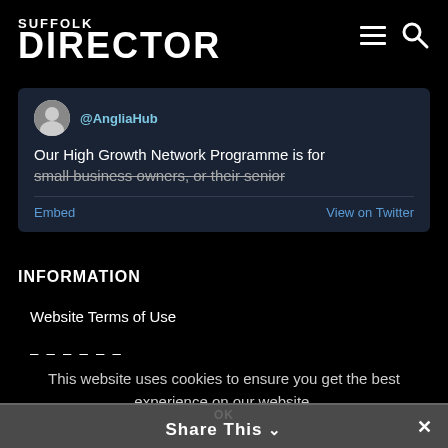SUFFOLK DIRECTOR
[Figure (screenshot): Twitter/social media embed card showing @AngliaHub handle and tweet text: 'Our High Growth Network Programme is for small business owners, or their senior...' with Embed and View on Twitter links]
INFORMATION
Website Terms of Use
Privacy...
This website uses cookies to ensure you get the best experience on our website.
OK | Share This ✓ ×